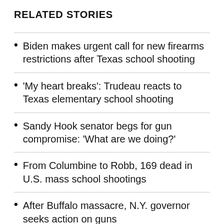RELATED STORIES
Biden makes urgent call for new firearms restrictions after Texas school shooting
'My heart breaks': Trudeau reacts to Texas elementary school shooting
Sandy Hook senator begs for gun compromise: 'What are we doing?'
From Columbine to Robb, 169 dead in U.S. mass school shootings
After Buffalo massacre, N.Y. governor seeks action on guns
Police investigate California lounge shooting that killed 1
Sandy Hook lawsuits against Alex Jones on